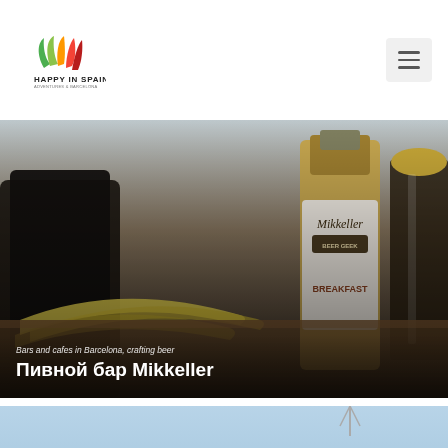[Figure (logo): Happy in Spain logo — colorful leaf/flame icon above text 'HAPPY IN SPAIN' with subtitle 'ADVENTURES & BARCELONA']
[Figure (photo): Photo of Mikkeller beer bottles and a dark beer in a glass mug on a wooden table with bananas, showcasing craft beer]
Bars and cafes in Barcelona, crafting beer
Пивной бар Mikkeller
[Figure (photo): Partial photo of a modern building or tower against a blue sky, visible at the bottom of the page]